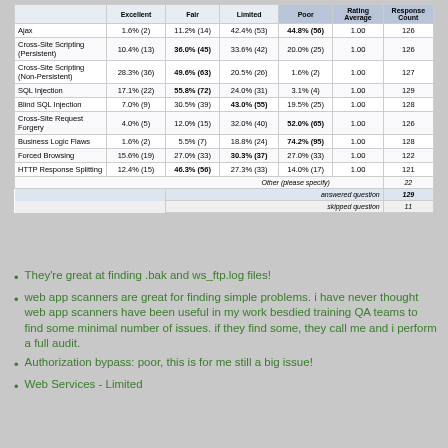|  | Excellent | Fair | Limited | Poor | Rating Average | Response Count |
| --- | --- | --- | --- | --- | --- | --- |
| Ajax | 1.6% (2) | 11.2% (14) | 42.4% (53) | 44.8% (56) | 1.00 | 126 |
| Cross-Site Scripting (Persistent) | 10.4% (13) | 36.0% (45) | 33.6% (42) | 20.0% (25) | 1.00 | 126 |
| Cross-Site Scripting (Non-Persistent) | 28.3% (36) | 49.6% (63) | 20.5% (26) | 1.6% (2) | 1.00 | 127 |
| SQL Injection | 17.1% (22) | 55.8% (72) | 24.0% (31) | 3.1% (4) | 1.00 | 129 |
| Blind SQL Injection | 7.0% (9) | 30.5% (39) | 43.0% (55) | 19.5% (25) | 1.00 | 128 |
| Cross-Site Request Forgery | 4.0% (5) | 12.0% (15) | 32.0% (40) | 52.0% (65) | 1.00 | 126 |
| Business Logic Flaws | 1.6% (2) | 5.5% (7) | 18.8% (24) | 74.2% (95) | 1.00 | 128 |
| Forced Browsing | 15.6% (19) | 27.0% (33) | 30.3% (37) | 27.0% (33) | 1.00 | 122 |
| HTTP Response Splitting | 12.4% (15) | 46.3% (56) | 27.3% (33) | 14.0% (17) | 1.00 | 121 |
| Other (please specify) |  |  |  |  |  | 22 |
| answered question |  |  |  |  |  | 129 |
| skipped question |  |  |  |  |  | 11 |
They're great at finding .bak and ws_ftp.log files!
web app scanners are great for finding simple problems. i have never thought web app scanners have been useful in my work besdied training QA teams to find some minimal number of issues. if they find some, they call me and i perform a full audit.
Authorization bypass: poor, this is for me still a big issue!
Web Services - Limited